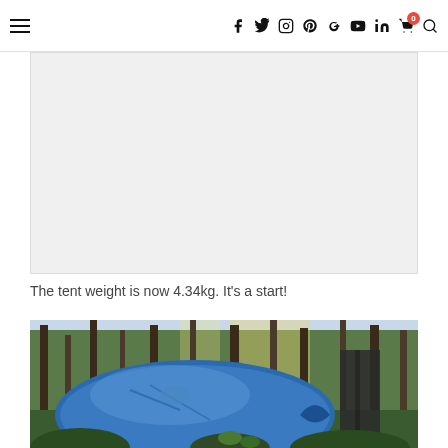Navigation bar with hamburger menu and social icons: facebook, twitter, instagram, pinterest, google+, youtube, linkedin, cart (0), search
[Figure (other): Advertisement placeholder — light grey rectangle]
The tent weight is now 4.34kg. It's a start!
[Figure (photo): A blue dome tent set up in a bushy forested camping area, with tall trees and sunlight in the background, and a dark tarp hanging on the right side]